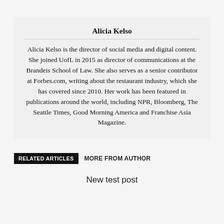Alicia Kelso
Alicia Kelso is the director of social media and digital content. She joined UofL in 2015 as director of communications at the Brandeis School of Law. She also serves as a senior contributor at Forbes.com, writing about the restaurant industry, which she has covered since 2010. Her work has been featured in publications around the world, including NPR, Bloomberg, The Seattle Times, Good Morning America and Franchise Asia Magazine.
RELATED ARTICLES   MORE FROM AUTHOR
New test post